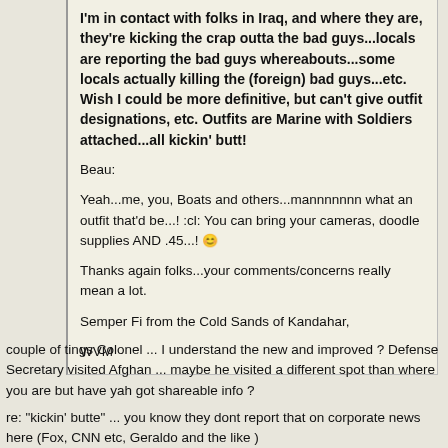I'm in contact with folks in Iraq, and where they are, they're kicking the crap outta the bad guys...locals are reporting the bad guys whereabouts...some locals actually killing the (foreign) bad guys...etc. Wish I could be more definitive, but can't give outfit designations, etc. Outfits are Marine with Soldiers attached...all kickin' butt!

Beau:

Yeah...me, you, Boats and others...mannnnnnn what an outfit that'd be...! :cl: You can bring your cameras, doodle supplies AND .45...! 

Thanks again folks...your comments/concerns really mean a lot.

Semper Fi from the Cold Sands of Kandahar,

WVM
couple of tings Colonel ... I understand the new and improved ? Defense Secretary visited Afghan ... maybe he visited a different spot than where you are but have yah got shareable info ?
re: "kickin' butte" ... you know they dont report that on corporate news here (Fox, CNN etc, Geraldo and the like )